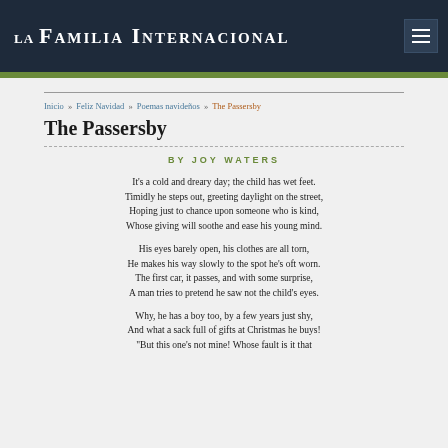LA FAMILIA INTERNACIONAL
Inicio » Feliz Navidad » Poemas navideños » The Passersby
The Passersby
BY JOY WATERS
It's a cold and dreary day; the child has wet feet.
Timidly he steps out, greeting daylight on the street,
Hoping just to chance upon someone who is kind,
Whose giving will soothe and ease his young mind.
His eyes barely open, his clothes are all torn,
He makes his way slowly to the spot he's oft worn.
The first car, it passes, and with some surprise,
A man tries to pretend he saw not the child's eyes.
Why, he has a boy too, by a few years just shy,
And what a sack full of gifts at Christmas he buys!
"But this one's not mine! Whose fault is it that